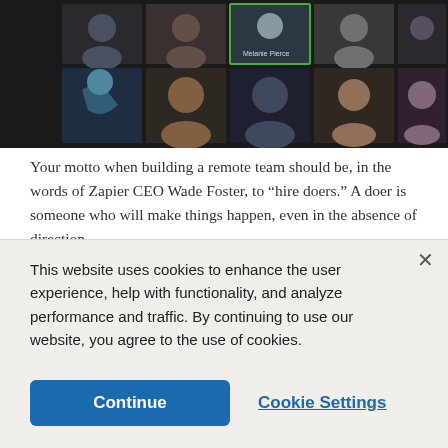[Figure (screenshot): A video conferencing call screenshot showing a grid of approximately 10 participants in a virtual meeting, with dark background and multiple participant video tiles arranged in two rows.]
Your motto when building a remote team should be, in the words of Zapier CEO Wade Foster, to “hire doers.” A doer is someone who will make things happen, even in the absence of direction.
The single most important quality when hiring a remote worker is hiring someone you can trust—to get the work done, to deliver on what they’ve promised, and to
This website uses cookies to enhance the user experience, help with functionality, and analyze performance and traffic. By continuing to use our website, you agree to the use of cookies.
Continue
Cookie Settings